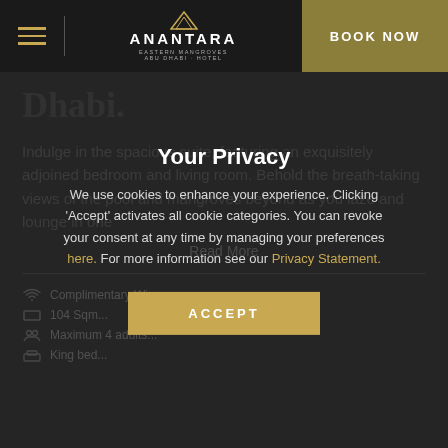Anantara Eastern Mangroves Abu Dhabi Hotel — BOOK NOW
Dhabi.
Indulge in the spacious suite, featuring an exquisitely adjoined bedroom and living room. Behold the breath-taking views of the pool and mangroves beyond as you laze and lounge in one
Read More
Complimentary Wi...
104 Sqm...
Maximum 4 adults...
King bed...
Your Privacy
We use cookies to enhance your experience. Clicking 'Accept' activates all cookie categories. You can revoke your consent at any time by managing your preferences here. For more information see our Privacy Statement.
ACCEPT